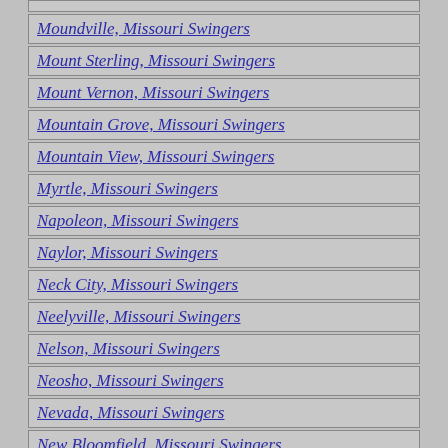Moundville, Missouri Swingers
Mount Sterling, Missouri Swingers
Mount Vernon, Missouri Swingers
Mountain Grove, Missouri Swingers
Mountain View, Missouri Swingers
Myrtle, Missouri Swingers
Napoleon, Missouri Swingers
Naylor, Missouri Swingers
Neck City, Missouri Swingers
Neelyville, Missouri Swingers
Nelson, Missouri Swingers
Neosho, Missouri Swingers
Nevada, Missouri Swingers
New Bloomfield, Missouri Swingers
New Boston, Missouri Swingers
New Cambria, Missouri Swingers
New Florence, Missouri Swingers